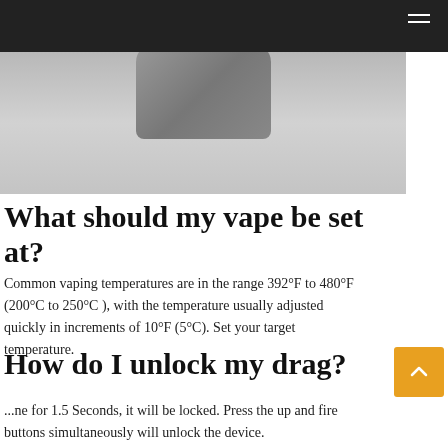[Figure (photo): A vaping device photographed from above on a light grey background, showing the top rounded corner of the device.]
What should my vape be set at?
Common vaping temperatures are in the range 392°F to 480°F (200°C to 250°C ), with the temperature usually adjusted quickly in increments of 10°F (5°C). Set your target temperature.
How do I unlock my drag?
...ne for 1.5 Seconds, it will be locked. Press the up and fire buttons simultaneously will unlock the device.